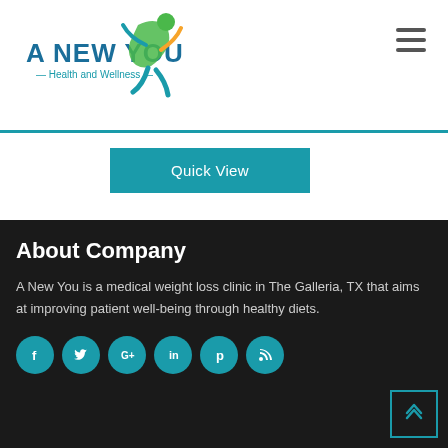[Figure (logo): A New You Health and Wellness logo with teal text and a green/teal figure illustration]
Quick View
About Company
A New You is a medical weight loss clinic in The Galleria, TX that aims at improving patient well-being through healthy diets.
[Figure (illustration): Social media icons row: Facebook, Twitter, Google+, LinkedIn, Pinterest, RSS — all teal circular buttons]